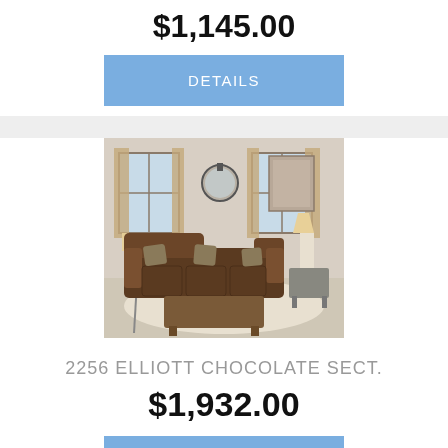$1,145.00
DETAILS
[Figure (photo): Brown sectional sofa with decorative pillows in a living room setting with lamps, windows, a round mirror, and a coffee table on a beige rug.]
2256 ELLIOTT CHOCOLATE SECT.
$1,932.00
DETAILS